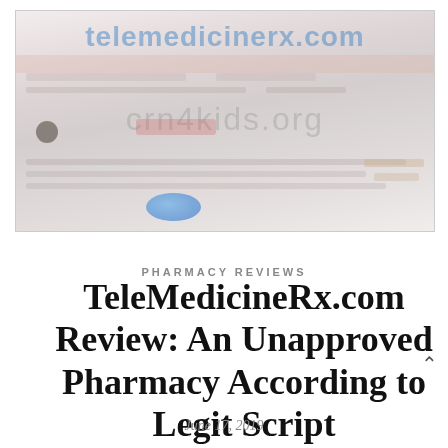[Figure (screenshot): Blurred screenshot of telemedicinerx.com website with watermarks 'telemedicinerx.com' and 'crn4kids.org' overlaid]
PHARMACY REVIEWS
TeleMedicineRx.com Review: An Unapproved Pharmacy According to Legit Script
June 17, 2019